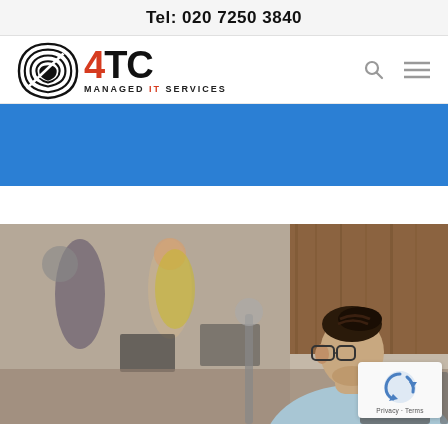Tel: 020 7250 3840
[Figure (logo): 4TC Managed IT Services logo with circular leaf/shield icon, '4' in red, 'TC' in black bold, 'MANAGED IT SERVICES' subtitle]
[Figure (other): Blue banner/hero section background]
[Figure (photo): Office scene with people working at computers; in foreground a man with glasses and braided hair looking at a monitor; background shows blurred colleagues and wooden wall paneling. reCAPTCHA badge overlay in bottom right corner.]